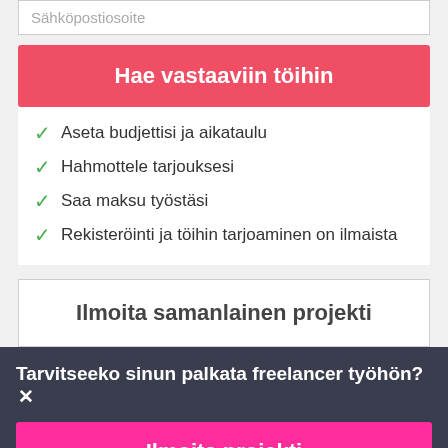Sähköpostiosoite
Hae vastaaviin töihin
Aseta budjettisi ja aikataulu
Hahmottele tarjouksesi
Saa maksu työstäsi
Rekisteröinti ja töihin tarjoaminen on ilmaista
Ilmoita samanlainen projekti
Tarvitseeko sinun palkata freelancer työhön?
Ilmoita projekti